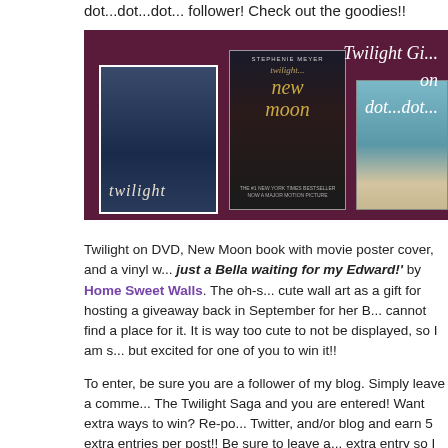dot...dot...dot... follower! Check out the goodies!!
[Figure (photo): Twilight giveaway banner showing Twilight DVD cover, New Moon book cover with movie poster, and a partial room image on a dark purple background with decorative text 'Twilight Gi... on dot...dot...']
Twilight on DVD, New Moon book with movie poster cover, and a vinyl w... just a Bella waiting for my Edward!' by Home Sweet Walls. The oh-s... cute wall art as a gift for hosting a giveaway back in September for her B... cannot find a place for it. It is way too cute to not be displayed, so I am s... but excited for one of you to win it!!
To enter, be sure you are a follower of my blog. Simply leave a comme... The Twilight Saga and you are entered! Want extra ways to win? Re-po... Twitter, and/or blog and earn 5 extra entries per post!! Be sure to leave a... extra entry so I can keep tally. Giveaway ends on Sunday, November 8th... be announced at 12pm that same night. If you are the lucky winner...